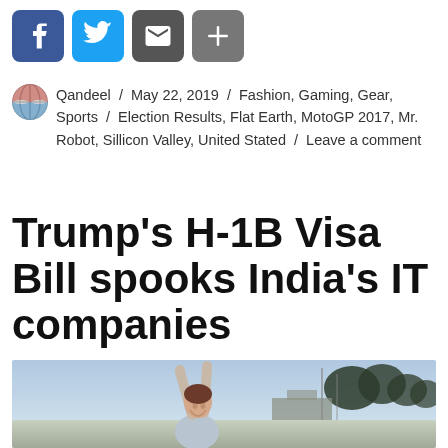[Figure (other): Social sharing buttons: Facebook, Twitter, Email, Share Plus]
Qandeel / May 22, 2019 / Fashion, Gaming, Gear, Sports / Election Results, Flat Earth, MotoGP 2017, Mr. Robot, Sillicon Valley, United Stated / Leave a comment
Trump's H-1B Visa Bill spooks India's IT companies
[Figure (photo): A woman with arms raised outdoors with buildings and trees in the background]